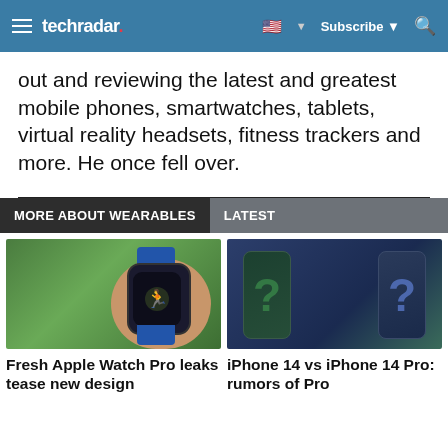techradar
out and reviewing the latest and greatest mobile phones, smartwatches, tablets, virtual reality headsets, fitness trackers and more. He once fell over.
MORE ABOUT WEARABLES
LATEST
[Figure (photo): Apple Watch on a wrist shown against green grass background]
[Figure (photo): Two iPhones with question marks overlaid, representing iPhone 14 vs iPhone 14 Pro comparison]
Fresh Apple Watch Pro leaks tease new design
iPhone 14 vs iPhone 14 Pro: rumors of Pro